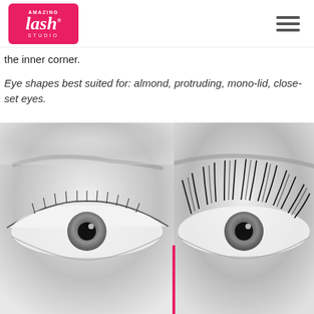[Figure (logo): Amazing Lash Studio logo — pink rounded rectangle with white script text]
the inner corner.
Eye shapes best suited for: almond, protruding, mono-lid, close-set eyes.
[Figure (photo): Before and after comparison photo of a woman's eye with and without lash extensions, split by a vertical pink line. Left side shows natural lashes; right side shows dramatic extended lashes. Black and white photography.]